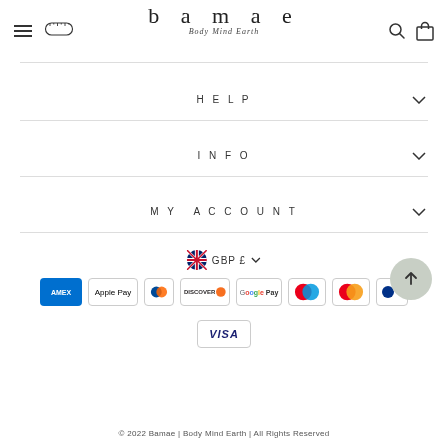[Figure (logo): Bamae brand logo with tape measure icon, hamburger menu, search and bag icons]
HELP
INFO
MY ACCOUNT
[Figure (infographic): Currency selector showing GBP £ with UK flag and dropdown chevron, followed by payment method icons: American Express, Apple Pay, Diners Club, Discover, Google Pay, Maestro, Mastercard, and Visa]
© 2022 Bamae | Body Mind Earth | All Rights Reserved